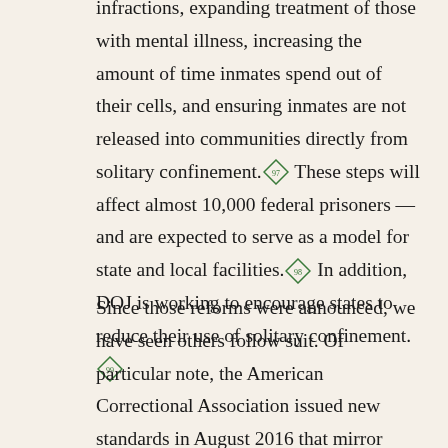infractions, expanding treatment of those with mental illness, increasing the amount of time inmates spend out of their cells, and ensuring inmates are not released into communities directly from solitary confinement.[97] These steps will affect almost 10,000 federal prisoners — and are expected to serve as a model for state and local facilities.[98] In addition, DOJ is working to encourage states to reduce their use of solitary confinement.[99]
Since those reforms were announced, we have seen others follow suit. Of particular note, the American Correctional Association issued new standards in August 2016 that mirror many of